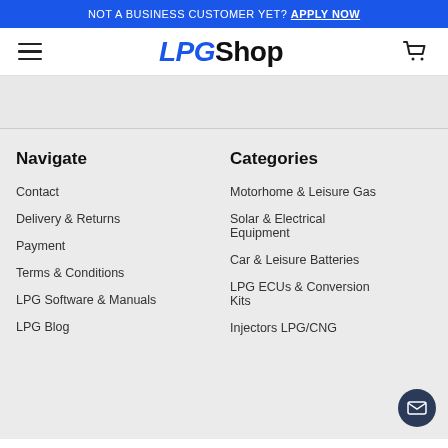NOT A BUSINESS CUSTOMER YET? APPLY NOW
[Figure (logo): LPGShop logo with hamburger menu and cart icon]
Navigate
Contact
Delivery & Returns
Payment
Terms & Conditions
LPG Software & Manuals
LPG Blog
Categories
Motorhome & Leisure Gas
Solar & Electrical Equipment
Car & Leisure Batteries
LPG ECUs & Conversion Kits
Injectors LPG/CNG